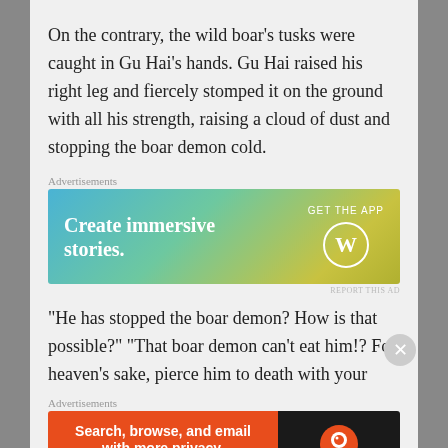On the contrary, the wild boar's tusks were caught in Gu Hai's hands. Gu Hai raised his right leg and fiercely stomped it on the ground with all his strength, raising a cloud of dust and stopping the boar demon cold.
Advertisements
[Figure (other): WordPress 'Create immersive stories. GET THE APP' advertisement banner with gradient blue-green-yellow background and WordPress logo]
REPORT THIS AD
"He has stopped the boar demon? How is that possible?" "That boar demon can't eat him!? For heaven's sake, pierce him to death with your
Advertisements
[Figure (other): DuckDuckGo 'Search, browse, and email with more privacy. All in One Free App' advertisement banner with orange left panel and dark right panel with DuckDuckGo logo]
REPORT THIS AD